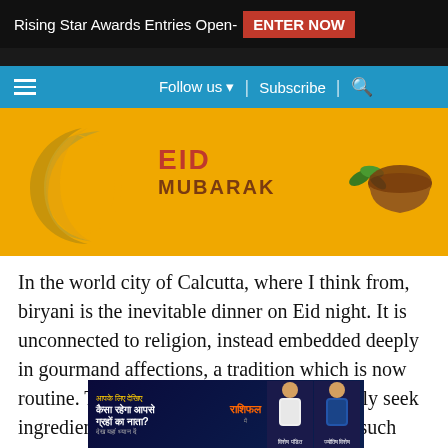Rising Star Awards Entries Open- ENTER NOW
Follow us ▾ | Subscribe | 🔍
[Figure (illustration): Eid Mubarak banner with golden crescent moon, green leaves, and brown pot on yellow background with red EID MUBARAK text]
In the world city of Calcutta, where I think from, biryani is the inevitable dinner on Eid night. It is unconnected to religion, instead embedded deeply in gourmand affections, a tradition which is now routine. The post corona world will sincerely seek ingredients for unification and food is one such compelling candida
[Figure (screenshot): Hindi language advertisement banner showing astrology/rashifal content with two people on dark blue background]